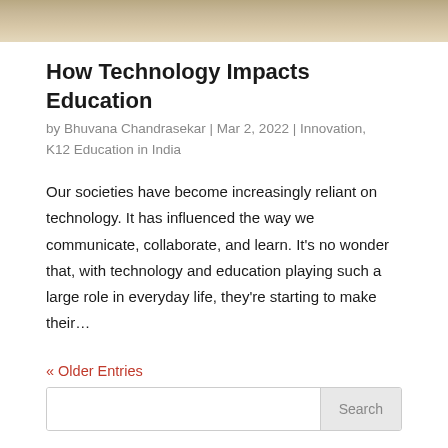[Figure (photo): Partial photo of a laptop on a desk, cropped at top of page.]
How Technology Impacts Education
by Bhuvana Chandrasekar | Mar 2, 2022 | Innovation, K12 Education in India
Our societies have become increasingly reliant on technology. It has influenced the way we communicate, collaborate, and learn. It’s no wonder that, with technology and education playing such a large role in everyday life, they’re starting to make their…
« Older Entries
Recent Posts
Homework App for Students: How to Manage School